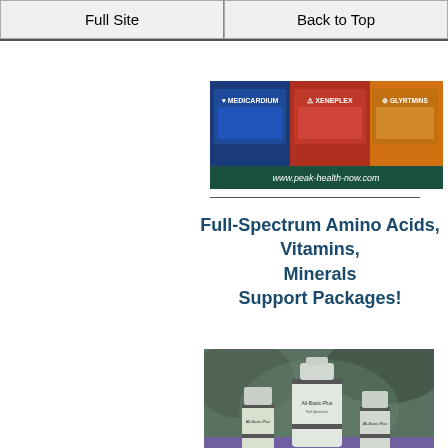Full Site | Back to Top
[Figure (photo): Banner image showing three supplement product boxes: MEDICARDIUM, XENEPLEX, and GLYRTMINS with website www.peak-health-now.com]
Full-Spectrum Amino Acids, Vitamins, Minerals Support Packages!
[Figure (photo): Photo of three white supplement bottles (All-Basic-Plus) of different sizes with website www.peak-health-now.com]
MONTIFF Amino Acids